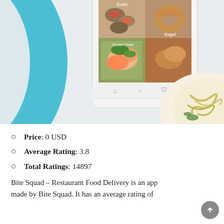[Figure (screenshot): Screenshot of a food delivery app showing a smartphone with food category images (Sushi, Bagel, Gluten Free) on screen, a teal decorative arc on the left, and a plate of noodles/food on the bottom right corner.]
Price: 0 USD
Average Rating: 3.8
Total Ratings: 14897
Bite Squad – Restaurant Food Delivery is an app made by Bite Squad. It has an average rating of